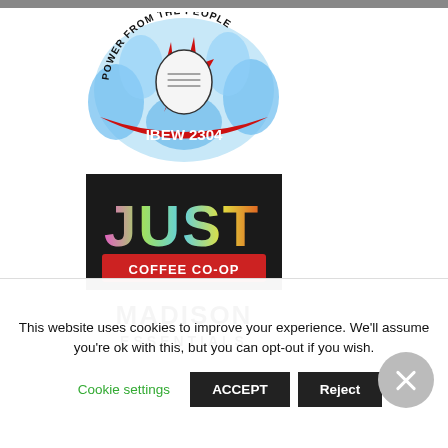[Figure (logo): IBEW 2304 logo — circular emblem with a fist holding lightning bolts, text 'POWER FROM THE PEOPLE' around the top, 'IBEW 2304' at the bottom, blue flame/energy background, red lightning bolts]
[Figure (logo): Just Coffee Co-op logo — dark background with colorful rainbow gradient block letters spelling 'JUST' above a red banner reading 'COFFEE CO-OP']
[Figure (logo): Madison Essentials logo — bold black uppercase text 'MADISON' above 'ESSENTIALS']
This website uses cookies to improve your experience. We'll assume you're ok with this, but you can opt-out if you wish.
Cookie settings    ACCEPT    Reject